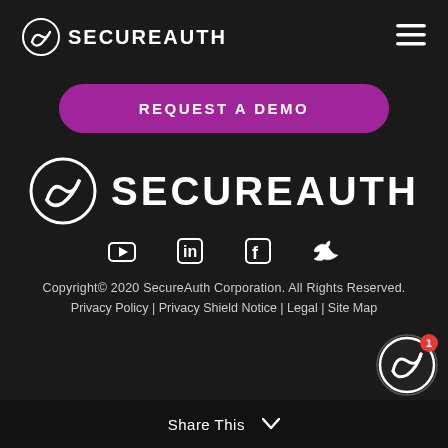[Figure (logo): SecureAuth logo with circular S icon and SECUREAUTH wordmark in white, small header version]
[Figure (other): Hamburger menu icon (three horizontal lines) in white]
REQUEST A DEMO
[Figure (logo): SecureAuth logo large centered, circular S icon and SECUREAUTH wordmark in white]
[Figure (other): Social media icons row: YouTube, LinkedIn, Facebook, Twitter]
Copyright© 2020 SecureAuth Corporation. All Rights Reserved.
Privacy Policy | Privacy Shield Notice | Legal | Site Map
Share This ∨